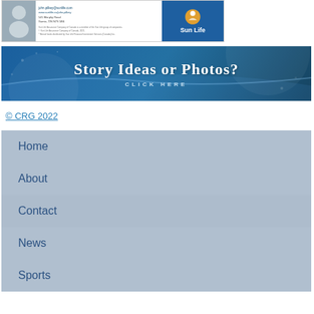[Figure (photo): Sun Life Financial advisor advertisement banner with agent photo, contact info, and Sun Life logo]
[Figure (infographic): Story Ideas or Photos? Click Here — blue banner call-to-action for submitting story ideas or photos]
© CRG 2022
Home
About
Contact
News
Sports